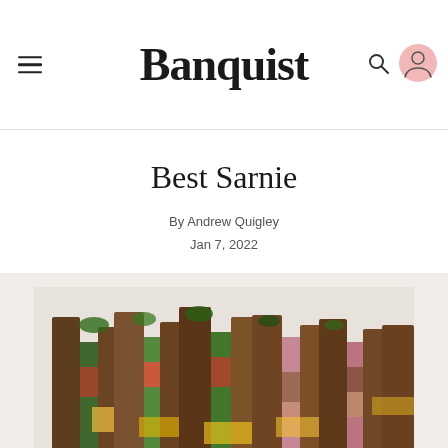Banquist
Best Sarnie
By Andrew Quigley
Jan 7, 2022
[Figure (photo): Close-up photograph of multiple grilled sandwiches standing upright side by side, showing melted cheese, greens, peppers, bacon and other fillings between toasted bread slices.]